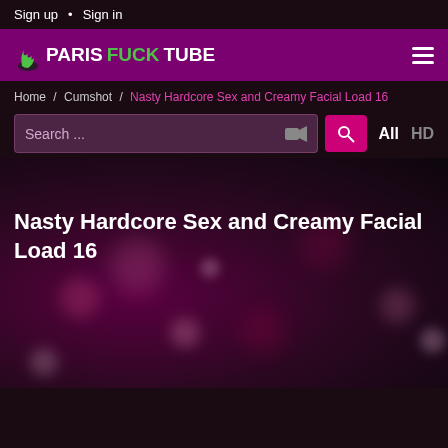Sign up • Sign in
[Figure (logo): ParisFuckTube logo with green flame icon on magenta/purple header bar with hamburger menu]
Home / Cumshot / Nasty Hardcore Sex and Creamy Facial Load 16
Search ... All HD
Nasty Hardcore Sex and Creamy Facial Load 16
[Figure (photo): Dark bokeh background with purple and pink blurred circular lights]